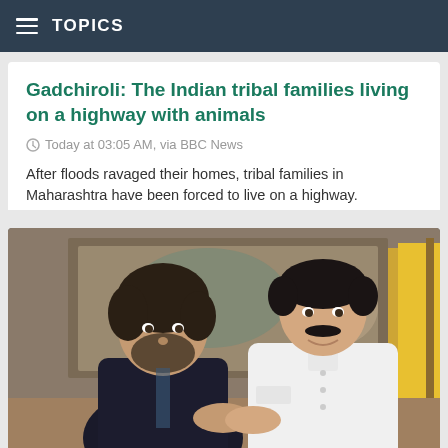TOPICS
Gadchiroli: The Indian tribal families living on a highway with animals
Today at 03:05 AM, via BBC News
After floods ravaged their homes, tribal families in Maharashtra have been forced to live on a highway.
[Figure (photo): Two men shaking hands indoors; one in a dark suit with beard, the other in a white Nehru-collar suit with mustache, in front of a painting and a yellow flag.]